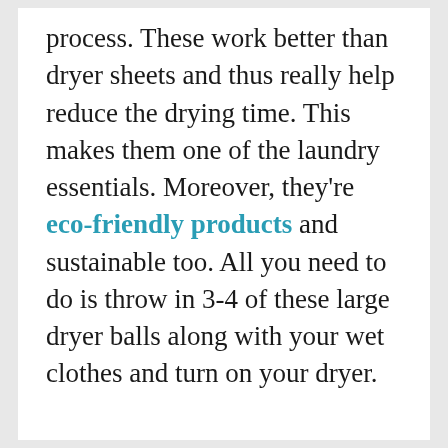process. These work better than dryer sheets and thus really help reduce the drying time. This makes them one of the laundry essentials. Moreover, they're eco-friendly products and sustainable too. All you need to do is throw in 3-4 of these large dryer balls along with your wet clothes and turn on your dryer.